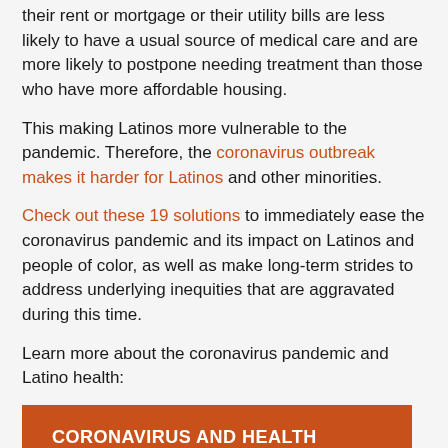their rent or mortgage or their utility bills are less likely to have a usual source of medical care and are more likely to postpone needing treatment than those who have more affordable housing.
This making Latinos more vulnerable to the pandemic. Therefore, the coronavirus outbreak makes it harder for Latinos and other minorities.
Check out these 19 solutions to immediately ease the coronavirus pandemic and its impact on Latinos and people of color, as well as make long-term strides to address underlying inequities that are aggravated during this time.
Learn more about the coronavirus pandemic and Latino health:
[Figure (other): Orange button with white bold text reading CORONAVIRUS AND HEALTH EQUITY]